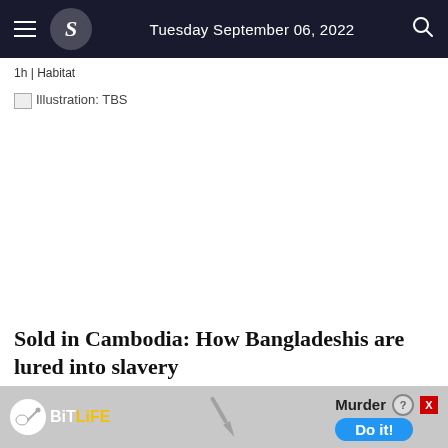Tuesday September 06, 2022
1h | Habitat
[Figure (illustration): Broken image placeholder with caption: Illustration: TBS]
Illustration: TBS
Sold in Cambodia: How Bangladeshis are lured into slavery
[Figure (other): BitLife advertisement banner with Murder Do it! call to action]